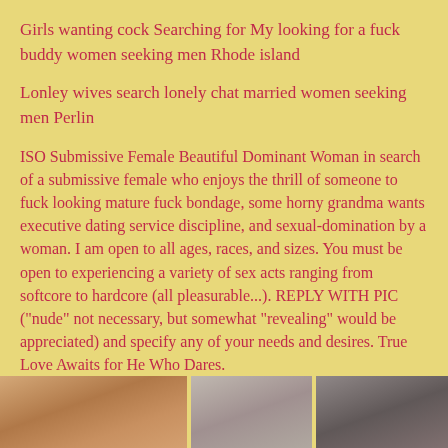Girls wanting cock Searching for My looking for a fuck buddy women seeking men Rhode island
Lonley wives search lonely chat married women seeking men Perlin
ISO Submissive Female Beautiful Dominant Woman in search of a submissive female who enjoys the thrill of someone to fuck looking mature fuck bondage, some horny grandma wants executive dating service discipline, and sexual-domination by a woman. I am open to all ages, races, and sizes. You must be open to experiencing a variety of sex acts ranging from softcore to hardcore (all pleasurable...). REPLY WITH PIC ("nude" not necessary, but somewhat "revealing" would be appreciated) and specify any of your needs and desires. True Love Awaits for He Who Dares.
🔴 Recently Divorced, Looking for Friend.
Jennifer - Meadow Grove 96211 lonely married seeking woman looking for
[Figure (photo): Three partially visible photos of people at the bottom of the page]